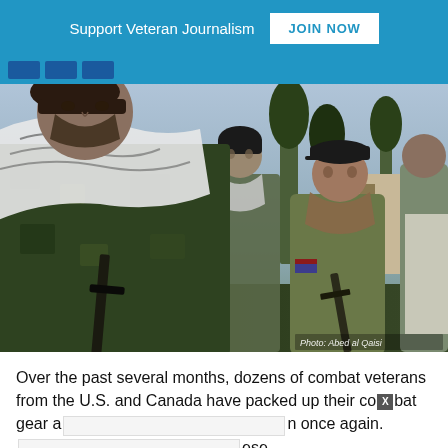Support Veteran Journalism  JOIN NOW
[Figure (photo): Armed combat veterans in military gear with scarves/keffiyehs; one wearing a black cap and US flag patch on jacket, another in camouflage; outdoors in what appears to be Middle East/Syria. Photo credit: Abed al Qaisi]
Over the past several months, dozens of combat veterans from the U.S. and Canada have packed up their combat gear a[...] n once again. [...]ese